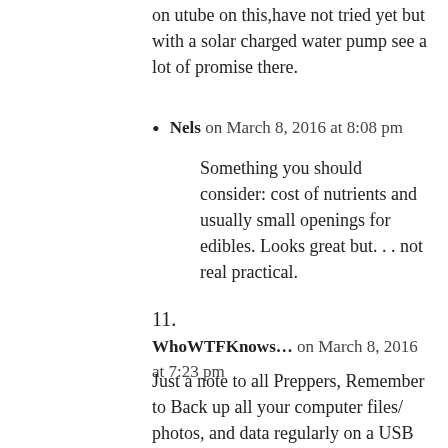on utube on this,have not tried yet but with a solar charged water pump see a lot of promise there.
Nels on March 8, 2016 at 8:08 pm
Something you should consider: cost of nutrients and usually small openings for edibles. Looks great but... not real practical.
11.
WhoWTFKnows... on March 8, 2016 at 7:23 pm
Just a note to all Preppers, Remember to Back up all your computer files/ photos, and data regularly on a USB 32GB memory sticks, and save the stick in a save place. You will be so happy you did, if the grid goes down, or an EMP or power surges that could blow up all your electronics. You will have your data saved for